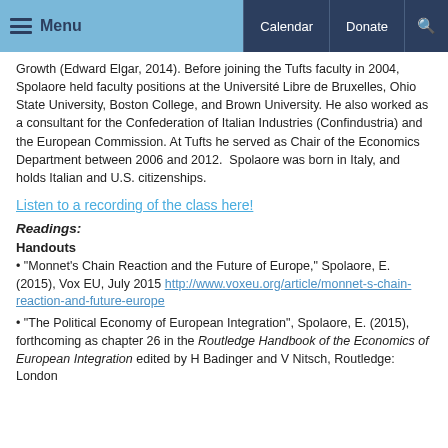Menu | Calendar | Donate | Search
Growth (Edward Elgar, 2014). Before joining the Tufts faculty in 2004, Spolaore held faculty positions at the Université Libre de Bruxelles, Ohio State University, Boston College, and Brown University. He also worked as a consultant for the Confederation of Italian Industries (Confindustria) and the European Commission. At Tufts he served as Chair of the Economics Department between 2006 and 2012.  Spolaore was born in Italy, and holds Italian and U.S. citizenships.
Listen to a recording of the class here!
Readings:
Handouts
"Monnet's Chain Reaction and the Future of Europe," Spolaore, E. (2015), Vox EU, July 2015 http://www.voxeu.org/article/monnet-s-chain-reaction-and-future-europe
"The Political Economy of European Integration", Spolaore, E. (2015), forthcoming as chapter 26 in the Routledge Handbook of the Economics of European Integration edited by H Badinger and V Nitsch, Routledge: London